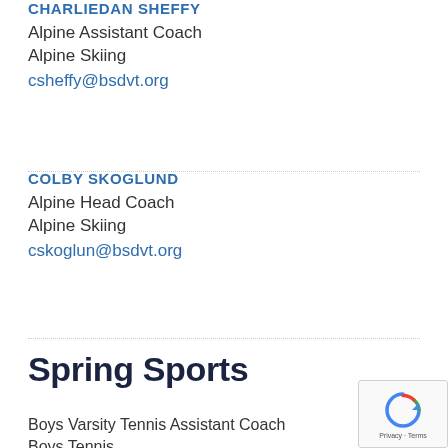CHARLIEDAN SHEFFY
Alpine Assistant Coach
Alpine Skiing
csheffy@bsdvt.org
COLBY SKOGLUND
Alpine Head Coach
Alpine Skiing
cskoglun@bsdvt.org
Spring Sports
Boys Varsity Tennis Assistant Coach
Boys Tennis